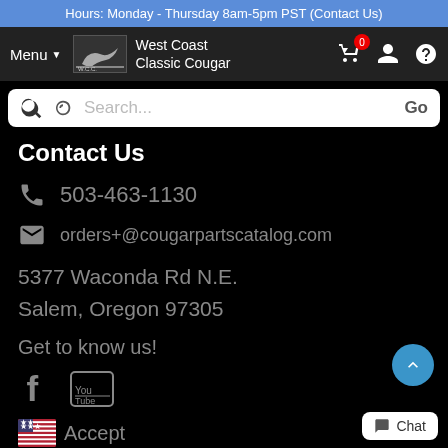Hours: Monday - Thursday 8am-5pm PST (Contact Us)
Menu  West Coast Classic Cougar
Search...  Go
Contact Us
503-463-1130
orders+@cougarpartscatalog.com
5377 Waconda Rd N.E.
Salem, Oregon 97305
Get to know us!
Accept